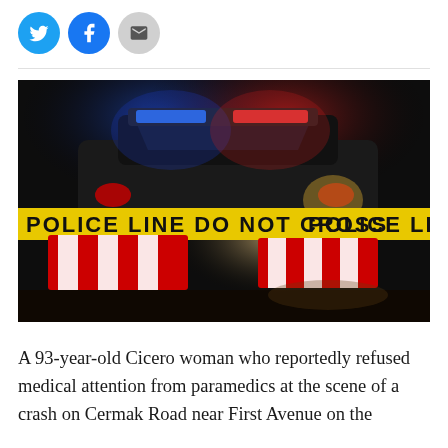[Figure (other): Social media share buttons: Twitter (blue bird icon), Facebook (blue f icon), Email (grey envelope icon)]
[Figure (photo): Nighttime photo of a police car with red and blue flashing lights behind yellow police tape reading 'POLICE LINE DO NOT CROSS' and red/white traffic barriers in foreground]
A 93-year-old Cicero woman who reportedly refused medical attention from paramedics at the scene of a crash on Cermak Road near First Avenue on the